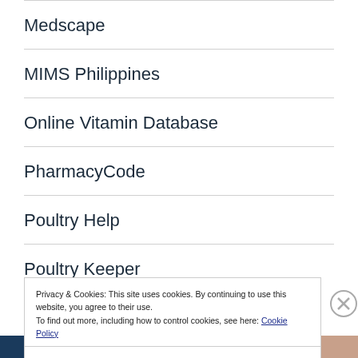Medscape
MIMS Philippines
Online Vitamin Database
PharmacyCode
Poultry Help
Poultry Keeper
Privacy & Cookies: This site uses cookies. By continuing to use this website, you agree to their use.
To find out more, including how to control cookies, see here: Cookie Policy
Close and accept